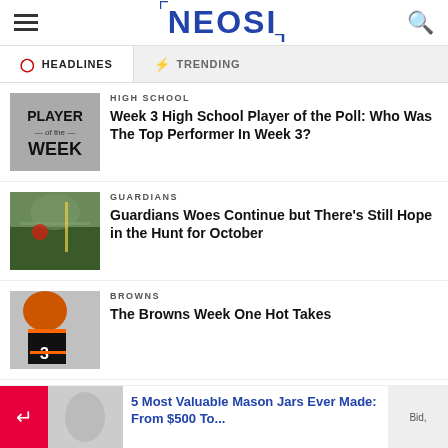NEOSI
HEADLINES  |  TRENDING
[Figure (photo): Player of the Week graphic with bold text on grey background]
HIGH SCHOOL
Week 3 High School Player of the Poll: Who Was The Top Performer In Week 3?
[Figure (photo): Baseball game photo showing player on field in stadium]
GUARDIANS
Guardians Woes Continue but There's Still Hope in the Hunt for October
[Figure (photo): Browns football player wearing jersey number 3 in orange helmet]
BROWNS
The Browns Week One Hot Takes
5 Most Valuable Mason Jars Ever Made: From $500 To...